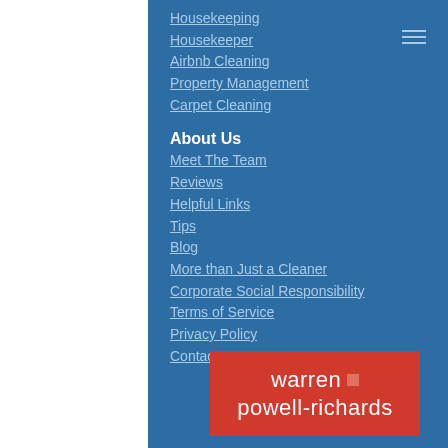Housekeeping
Housekeeper
Airbnb Cleaning
Property Management
Carpet Cleaning
About Us
Meet The Team
Reviews
Helpful Links
Tips
Blog
More than Just a Cleaner
Corporate Social Responsibility
Terms of Service
Privacy Policy
Contact Us
[Figure (logo): Warren Powell-Richards logo on red background with small red square accent]